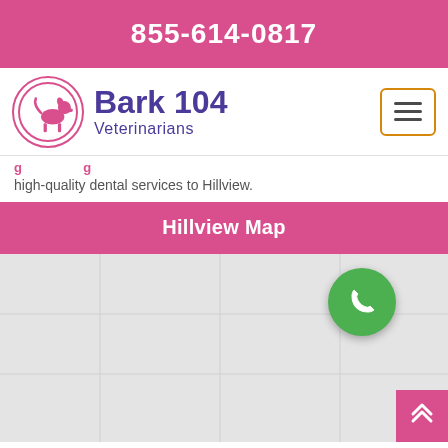855-614-0817
[Figure (logo): Bark 104 Veterinarians logo with dog silhouette in pink circle and purple text]
high-quality dental services to Hillview.
Hillview Map
[Figure (map): Grey placeholder map for Hillview area with green phone call floating action button]
[Figure (other): Pink scroll-to-top button with double up-arrow chevron]